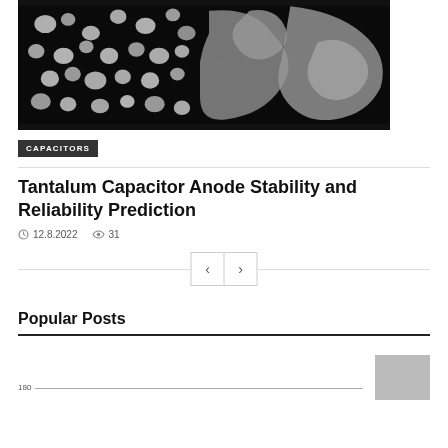[Figure (photo): Microscopy image split in two halves: left side shows white/light-grey small particles on a black background (tantalum powder particles), right side shows larger grey blob-like regions on a black background (cross-section microstructure)]
CAPACITORS
Tantalum Capacitor Anode Stability and Reliability Prediction
12.8.2022   31
Popular Posts